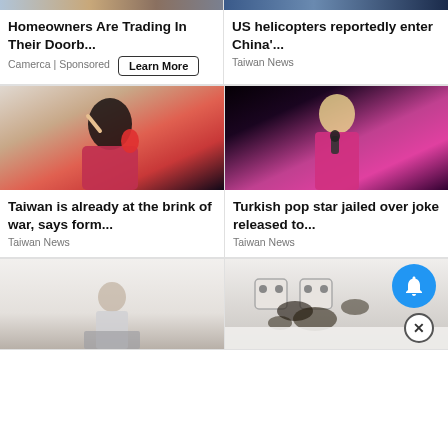[Figure (screenshot): News feed card: top image strip for doorbell ad]
Homeowners Are Trading In Their Doorb...
Camerca | Sponsored
[Figure (screenshot): News feed card: top image strip for US helicopters story]
US helicopters reportedly enter China'...
Taiwan News
[Figure (photo): Elderly Asian woman in pink jacket pointing finger upward near red microphone]
Taiwan is already at the brink of war, says form...
Taiwan News
[Figure (photo): Blonde woman in pink dress singing on stage with microphone]
Turkish pop star jailed over joke released to...
Taiwan News
[Figure (photo): Taiwan president at podium in grey room]
[Figure (photo): Wall outlet with mold/dark stains on white wall]